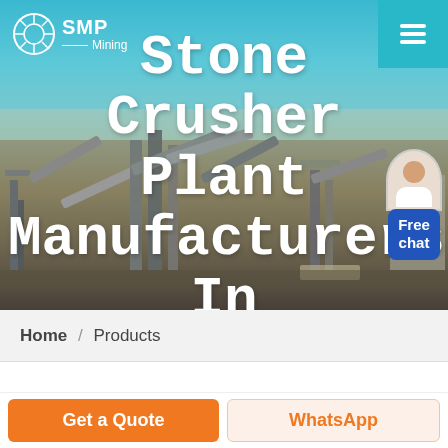[Figure (screenshot): Stone crusher plant manufacturing facility with conveyor belts and industrial machinery in background, with sky and sandy/gravel ground.]
SMP Mining
Stone Crusher Plant Manufacturers In Iran
[Figure (other): Free chat button with female avatar/assistant icon]
Home / Products
Different
Get a Quote
WhatsApp